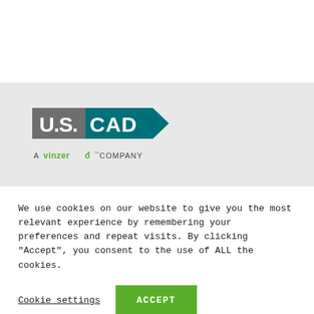[Figure (logo): U.S. CAD logo with tagline 'A Vinzero Company' on a light grey background]
We use cookies on our website to give you the most relevant experience by remembering your preferences and repeat visits. By clicking “Accept”, you consent to the use of ALL the cookies.
Cookie settings  ACCEPT